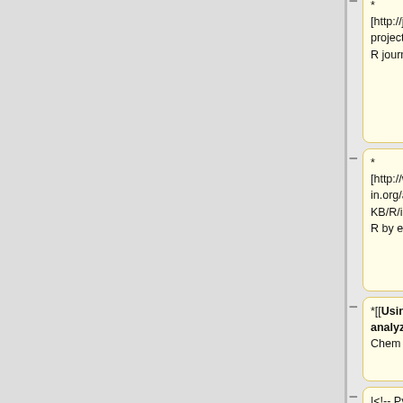[Figure (screenshot): Wiki diff view showing side-by-side comparison of wiki markup changes. Left column (yellow boxes) shows old content with minus signs, right column (blue boxes) shows new content with plus signs. Rows contain: (1) partial top row with 'statistical computing]' on left and 'inclusion in GEOS-Chem]] (wiki page)' on right; (2) '* [http://journal.r-project.org/ The R journal]' on left, '|Instructions for submitting new source code or data updates to be included into GEOS-Chem.' on right; (3) '* [http://www.mayin.org/ajayshah/KB/R/index.html R by example]' on left, empty on right; (4) '*[[Using R to analyze GEOS-Chem data]]' on left, empty on right; (5) '|<!-- Python -->' on left, empty on right; (6) '*[[Python code for GEOS-' on left, empty on right.]